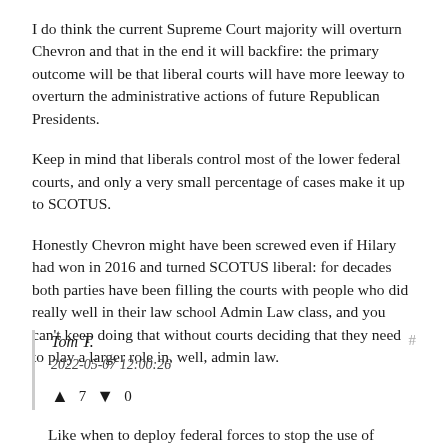I do think the current Supreme Court majority will overturn Chevron and that in the end it will backfire: the primary outcome will be that liberal courts will have more leeway to overturn the administrative actions of future Republican Presidents.
Keep in mind that liberals control most of the lower federal courts, and only a very small percentage of cases make it up to SCOTUS.
Honestly Chevron might have been screwed even if Hilary had won in 2016 and turned SCOTUS liberal: for decades both parties have been filling the courts with people who did really well in their law school Admin Law class, and you can't keep doing that without courts deciding that they need to play a larger role in, well, admin law.
Tom T.
2022-05-07 12:00:26
↑ 7 ↓ 0
Like when to deploy federal forces to stop the use of...